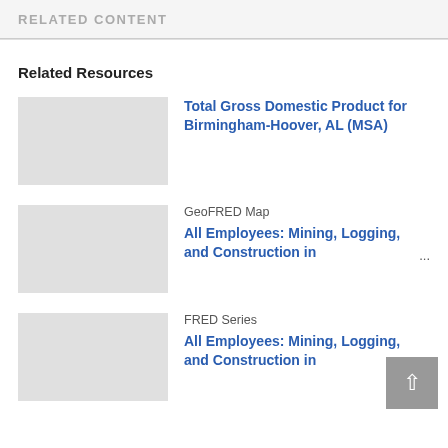RELATED CONTENT
Related Resources
Total Gross Domestic Product for Birmingham-Hoover, AL (MSA)
GeoFRED Map
All Employees: Mining, Logging, and Construction in ...
FRED Series
All Employees: Mining, Logging, and Construction in ...